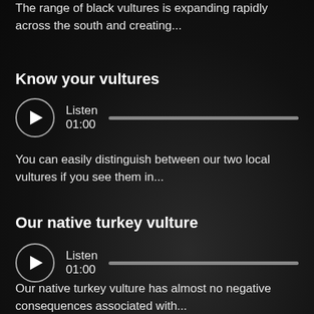The range of black vultures is expanding rapidly across the south and creating...
Know your vultures
[Figure (other): Audio player with play button, Listen label, 01:00 duration, and progress bar]
You can easily distinguish between our two local vultures if you see them in...
Our native turkey vulture
[Figure (other): Audio player with play button, Listen label, 01:00 duration, and progress bar]
Our native turkey vulture has almost no negative consequences associated with...